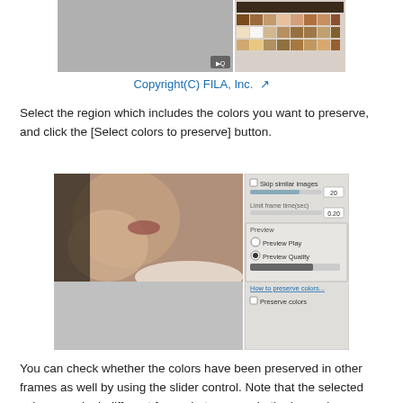[Figure (screenshot): Top portion of a software UI screenshot showing a video frame of a person's face alongside a color palette panel on the right.]
Copyright(C) FILA, Inc.
Select the region which includes the colors you want to preserve, and click the [Select colors to preserve] button.
[Figure (screenshot): Software UI screenshot showing a blurred video frame of a person's neck/shoulder on the left, a gray preview area below, and a settings panel on the right with options: Skip similar images checkbox with slider (20), Limit frame time(sec) slider (0.20), Preview section with Preview Play and Preview Quality radio buttons (Quality selected), a progress bar, How to preserve colors... link, and Preserve colors checkbox.]
You can check whether the colors have been preserved in other frames as well by using the slider control. Note that the selected colors may look different from what you see in the image because